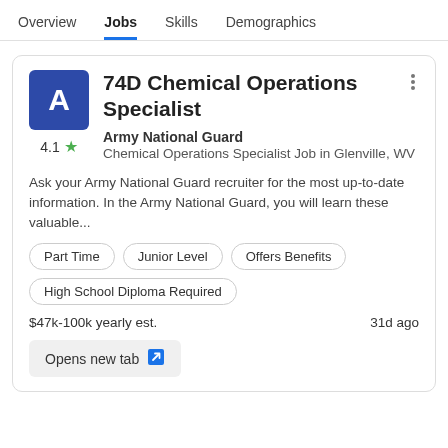Overview  Jobs  Skills  Demographics
74D Chemical Operations Specialist
Army National Guard
Chemical Operations Specialist Job in Glenville, WV
Ask your Army National Guard recruiter for the most up-to-date information. In the Army National Guard, you will learn these valuable...
Part Time
Junior Level
Offers Benefits
High School Diploma Required
$47k-100k yearly est.
31d ago
Opens new tab